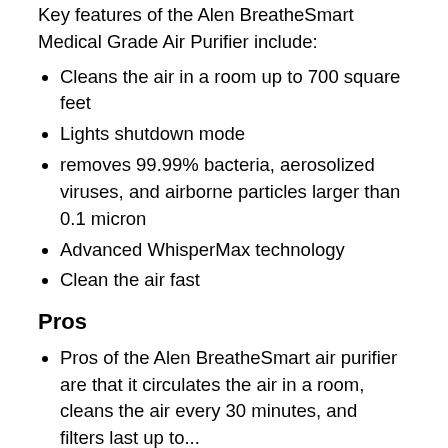Key features of the Alen BreatheSmart Medical Grade Air Purifier include:
Cleans the air in a room up to 700 square feet
Lights shutdown mode
removes 99.99% bacteria, aerosolized viruses, and airborne particles larger than 0.1 micron
Advanced WhisperMax technology
Clean the air fast
Pros
Pros of the Alen BreatheSmart air purifier are that it circulates the air in a room, cleans the air every 30 minutes, and filters last up to... Based on that it...